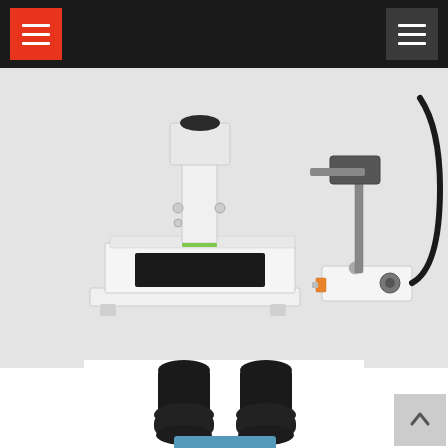Navigation header with menu buttons
[Figure (photo): EmbryoGlo Stero Microscope product photo showing a white laboratory stereo microscope with attached camera/illuminator module and cable on a light grey background]
EmbryoGlo - Stero Microscope
[Figure (photo): Bottom portion showing microscope eyepiece/binocular head in black]
[Figure (other): Back to top arrow button in grey]